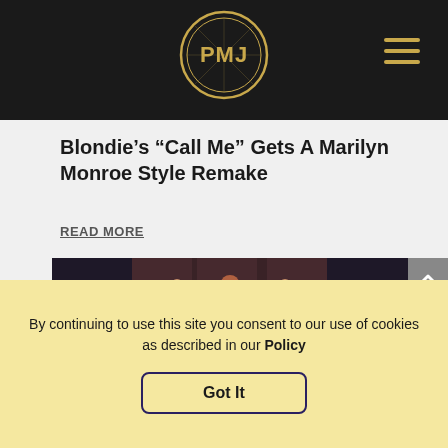[Figure (logo): PMJ circular logo in gold on dark background with hamburger menu icon]
Blondie’s “Call Me” Gets A Marilyn Monroe Style Remake
READ MORE
[Figure (photo): Female performer with red curly hair and arms raised at a microphone, with a band in the background in a dimly lit venue]
By continuing to use this site you consent to our use of cookies as described in our Policy
Got It